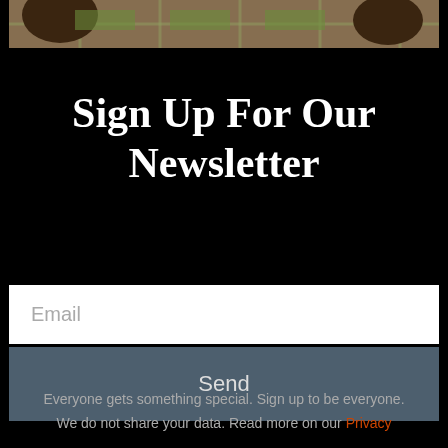[Figure (photo): Partial photo at top showing garden/patio scene with pots and a checkered grass/stone pattern]
Sign Up For Our Newsletter
Email
Send
Everyone gets something special. Sign up to be everyone.
We do not share your data. Read more on our Privacy